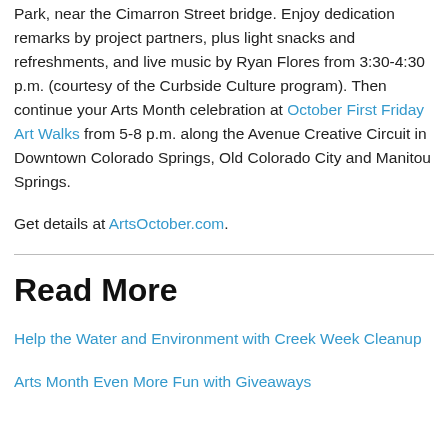Park, near the Cimarron Street bridge. Enjoy dedication remarks by project partners, plus light snacks and refreshments, and live music by Ryan Flores from 3:30-4:30 p.m. (courtesy of the Curbside Culture program). Then continue your Arts Month celebration at October First Friday Art Walks from 5-8 p.m. along the Avenue Creative Circuit in Downtown Colorado Springs, Old Colorado City and Manitou Springs.
Get details at ArtsOctober.com.
Read More
Help the Water and Environment with Creek Week Cleanup
Arts Month Even More Fun with Giveaways